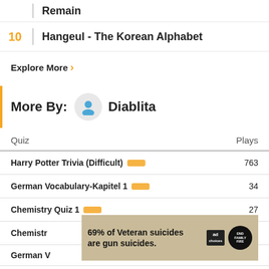Remain
10  Hangeul - The Korean Alphabet
Explore More ›
More By:  Diablita
| Quiz | Plays |
| --- | --- |
| Harry Potter Trivia (Difficult) | 763 |
| German Vocabulary-Kapitel 1 | 34 |
| Chemistry Quiz 1 | 27 |
| Chemistry... | 22 |
| German V... |  |
[Figure (other): Advertisement banner: '69% of Veteran suicides are gun suicides.' with ad choices logo and End Family Fire logo]